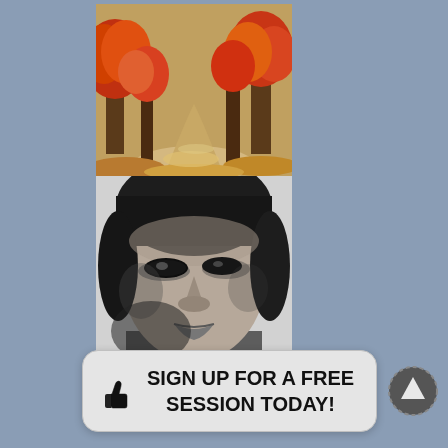[Figure (photo): Autumn forest scene with red and orange foliage trees lining a winding path covered with fallen leaves]
[Figure (photo): Black and white close-up portrait of a person's face showing eyes, nose, and lips with dramatic lighting]
SIGN UP FOR A FREE SESSION TODAY!